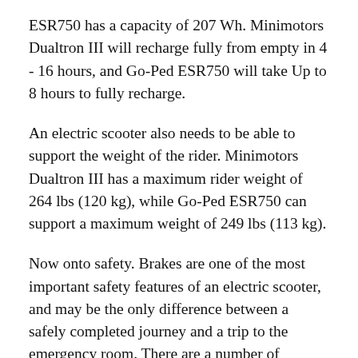ESR750 has a capacity of 207 Wh. Minimotors Dualtron III will recharge fully from empty in 4 - 16 hours, and Go-Ped ESR750 will take Up to 8 hours to fully recharge.
An electric scooter also needs to be able to support the weight of the rider. Minimotors Dualtron III has a maximum rider weight of 264 lbs (120 kg), while Go-Ped ESR750 can support a maximum weight of 249 lbs (113 kg).
Now onto safety. Brakes are one of the most important safety features of an electric scooter, and may be the only difference between a safely completed journey and a trip to the emergency room. There are a number of different brake